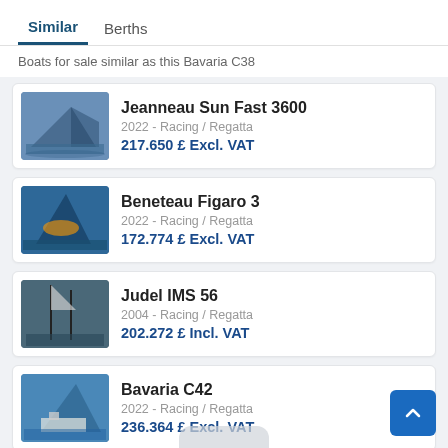Similar | Berths
Boats for sale similar as this Bavaria C38
Jeanneau Sun Fast 3600 | 2022 - Racing / Regatta | 217.650 £ Excl. VAT
Beneteau Figaro 3 | 2022 - Racing / Regatta | 172.774 £ Excl. VAT
Judel IMS 56 | 2004 - Racing / Regatta | 202.272 £ Incl. VAT
Bavaria C42 | 2022 - Racing / Regatta | 236.364 £ Excl. VAT